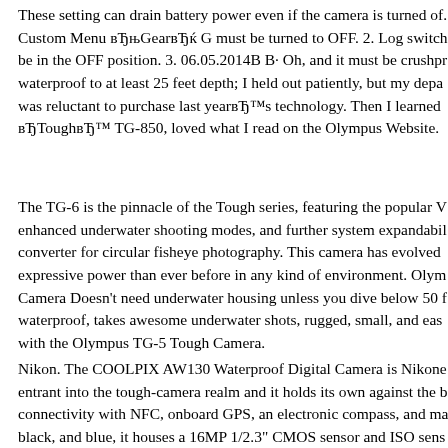These setting can drain battery power even if the camera is turned of. Custom Menu вЂњGearвЂќ G must be turned to OFF. 2. Log switch be in the OFF position. 3. 06.05.2014В В· Oh, and it must be crushpr waterproof to at least 25 feet depth; I held out patiently, but my depa was reluctant to purchase last yearвЂ™s technology. Then I learned вЂToughвЂ™ TG-850, loved what I read on the Olympus Website.
The TG-6 is the pinnacle of the Tough series, featuring the popular V enhanced underwater shooting modes, and further system expandabil converter for circular fisheye photography. This camera has evolved expressive power than ever before in any kind of environment. Olym Camera Doesn't need underwater housing unless you dive below 50 f waterproof, takes awesome underwater shots, rugged, small, and eas with the Olympus TG-5 Tough Camera.
Nikon. The COOLPIX AW130 Waterproof Digital Camera is Nikonе entrant into the tough-camera realm and it holds its own against the b connectivity with NFC, onboard GPS, an electronic compass, and ma black, and blue, it houses a 16MP 1/2.3" CMOS sensor and ISO sens